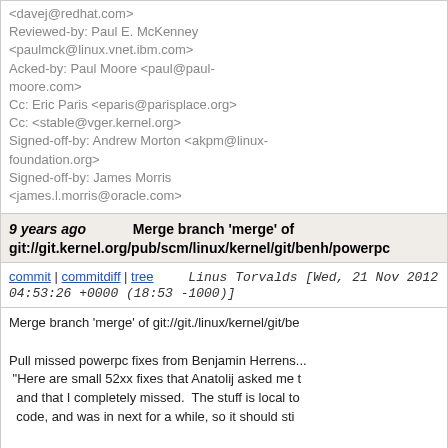<davej@redhat.com>
Reviewed-by: Paul E. McKenney <paulmck@linux.vnet.ibm.com>
Acked-by: Paul Moore <paul@paul-moore.com>
Cc: Eric Paris <eparis@parisplace.org>
Cc: <stable@vger.kernel.org>
Signed-off-by: Andrew Morton <akpm@linux-foundation.org>
Signed-off-by: James Morris <james.l.morris@oracle.com>
9 years ago   Merge branch 'merge' of git://git.kernel.org/pub/scm/linux/kernel/git/benh/powerpc
commit | commitdiff | tree   Linus Torvalds [Wed, 21 Nov 2012 04:53:26 +0000 (18:53 -1000)]
Merge branch 'merge' of git://git./linux/kernel/git/be...

Pull missed powerpc fixes from Benjamin Herrens...
 "Here are small 52xx fixes that Anatolij asked me...
  and that I completely missed.  The stuff is local to...
  code, and was in next for a while, so it should sti...

* 'merge' of git://git.kernel.org/pub/scm/linux/kerne...
  powerpc/mpc5200: move lpbfifo node and fix its ...
  powerpc: 52xx: nop out unsupported critical IRQs...
  powerpc/pcm030: add pcm030-audio-fabric to dts